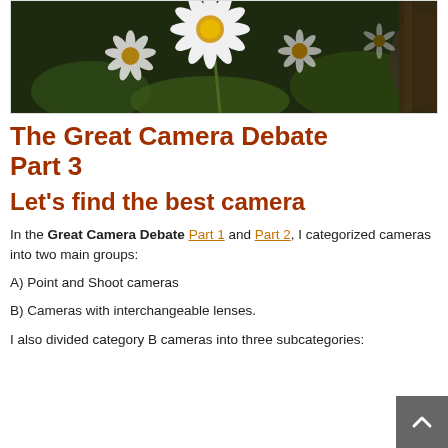[Figure (photo): Close-up photograph of white daisy flowers with yellow centers against a dark blurred background]
The Great Camera Debate Part 3
Let's find the best camera
In the Great Camera Debate Part 1 and Part 2, I categorized cameras into two main groups:
A) Point and Shoot cameras
B) Cameras with interchangeable lenses.
I also divided category B cameras into three subcategories: